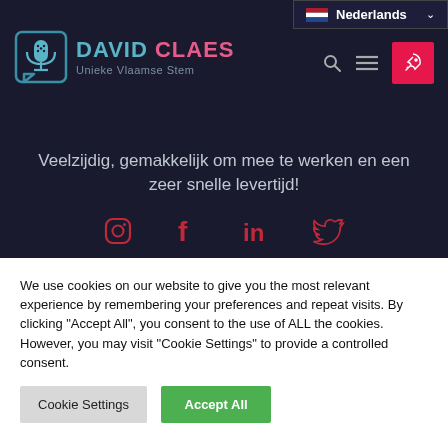[Figure (screenshot): David Claes website header with logo, navigation icons, language selector showing Netherlands flag and 'Nederlands', hero text in Dutch, and social media icons for Instagram, Facebook, LinkedIn, and Twitter on dark background]
We use cookies on our website to give you the most relevant experience by remembering your preferences and repeat visits. By clicking "Accept All", you consent to the use of ALL the cookies. However, you may visit "Cookie Settings" to provide a controlled consent.
Cookie Settings | Accept All